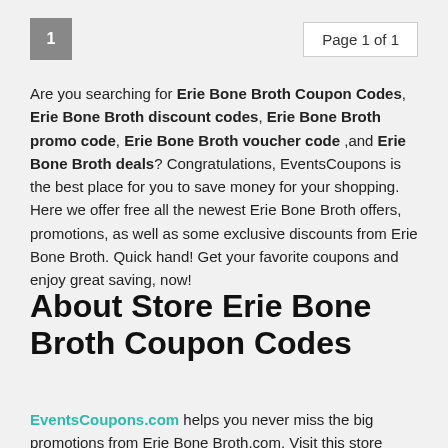1   Page 1 of 1
Are you searching for Erie Bone Broth Coupon Codes, Erie Bone Broth discount codes, Erie Bone Broth promo code, Erie Bone Broth voucher code ,and Erie Bone Broth deals? Congratulations, EventsCoupons is the best place for you to save money for your shopping. Here we offer free all the newest Erie Bone Broth offers, promotions, as well as some exclusive discounts from Erie Bone Broth. Quick hand! Get your favorite coupons and enjoy great saving, now!
About Store Erie Bone Broth Coupon Codes
EventsCoupons.com helps you never miss the big promotions from Erie Bone Broth.com. Visit this store